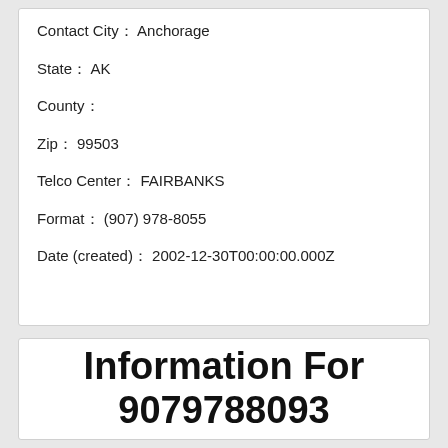Contact City: Anchorage
State: AK
County:
Zip: 99503
Telco Center: FAIRBANKS
Format: (907) 978-8055
Date (created): 2002-12-30T00:00:00.000Z
Information For 9079788093